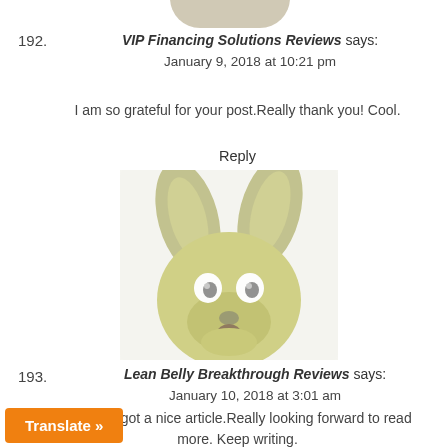192.
VIP Financing Solutions Reviews says:
January 9, 2018 at 10:21 pm
I am so grateful for your post.Really thank you! Cool.
Reply
[Figure (photo): Blurry photo of a stuffed animal or puppet resembling a small deer or similar creature with large ears, googly eyes, and an open mouth, against a white background.]
193.
Lean Belly Breakthrough Reviews says:
January 10, 2018 at 3:01 am
Say, you got a nice article.Really looking forward to read more. Keep writing.
Reply
Translate »